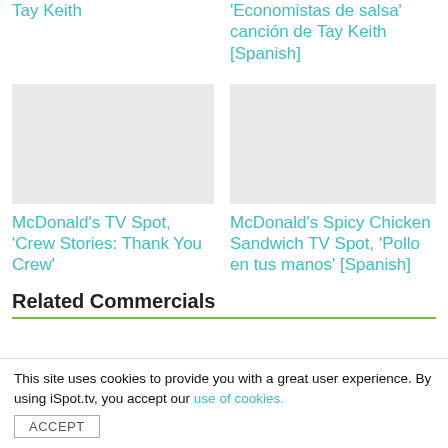Tay Keith
'Economistas de salsa' canción de Tay Keith [Spanish]
McDonald's TV Spot, 'Crew Stories: Thank You Crew'
McDonald's Spicy Chicken Sandwich TV Spot, 'Pollo en tus manos' [Spanish]
Related Commercials
This site uses cookies to provide you with a great user experience. By using iSpot.tv, you accept our use of cookies.
ACCEPT